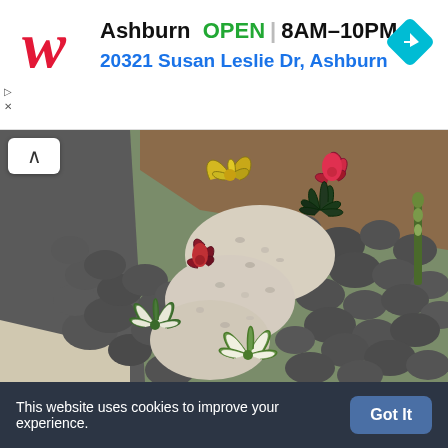[Figure (screenshot): Walgreens ad banner showing store location in Ashburn, OPEN 8AM-10PM, address 20321 Susan Leslie Dr, Ashburn, with Walgreens logo and navigation arrow icon]
[Figure (photo): Garden landscaping photo showing decorative rocks, river stones, and tropical/succulent plants including bromeliads with red and yellow flowers, spider plants with green and white striped leaves, arranged along a pathway of white gravel]
This website uses cookies to improve your experience.
Got It